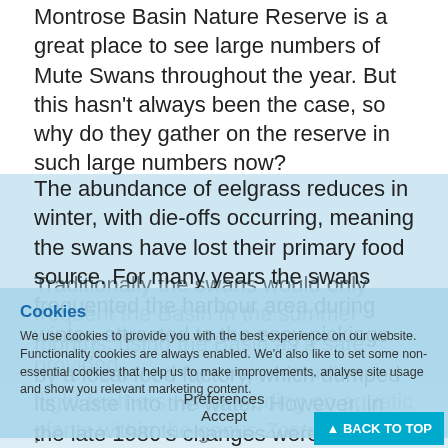Montrose Basin Nature Reserve is a great place to see large numbers of Mute Swans throughout the year.  But this hasn't always been the case, so why do they gather on the reserve in such large numbers now?
Traditionally the swans would only frequent the Basin in the summer months, using the Basin as a safe haven where they could moult their flight feathers whilst feeding on aquatic plants within the genus Zostera, commonly called eelgrasses.
The abundance of eelgrass reduces in winter, with die-offs occurring, meaning the swans have lost their primary food source.  For many years the swans frequented the harbour area during winter, attracted to the easy pickings provided by a local food factory, which dumped its waste into the water.  However, in the late 1980's changes were made to minimise the meaning that the factory could on...
Cookies
We use cookies to provide you with the best experience on our website. Functionality cookies are always enabled. We'd also like to set some non-essential cookies that help us to make improvements, analyse site usage and show you relevant marketing content.